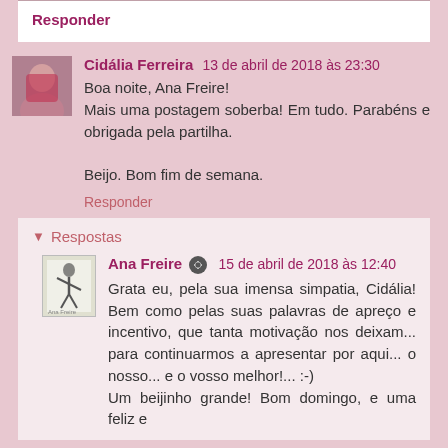Responder
Cidália Ferreira 13 de abril de 2018 às 23:30
Boa noite, Ana Freire! Mais uma postagem soberba! Em tudo. Parabéns e obrigada pela partilha.

Beijo. Bom fim de semana.
Responder
Respostas
Ana Freire 15 de abril de 2018 às 12:40
Grata eu, pela sua imensa simpatia, Cidália! Bem como pelas suas palavras de apreço e incentivo, que tanta motivação nos deixam... para continuarmos a apresentar por aqui... o nosso... e o vosso melhor!... :-)
Um beijinho grande! Bom domingo, e uma feliz e